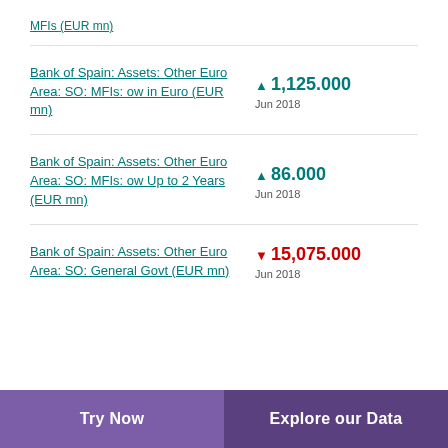MFIs (EUR mn)
Bank of Spain: Assets: Other Euro Area: SO: MFIs: ow in Euro (EUR mn)
Bank of Spain: Assets: Other Euro Area: SO: MFIs: ow Up to 2 Years (EUR mn)
Bank of Spain: Assets: Other Euro Area: SO: General Govt (EUR mn)
Try Now  |  Explore our Data